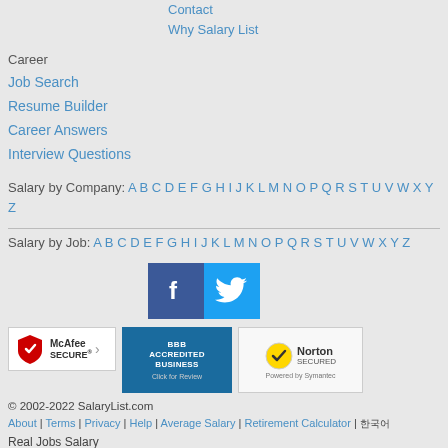Contact
Why Salary List
Career
Job Search
Resume Builder
Career Answers
Interview Questions
Salary by Company: A B C D E F G H I J K L M N O P Q R S T U V W X Y Z
Salary by Job: A B C D E F G H I J K L M N O P Q R S T U V W X Y Z
[Figure (logo): Facebook and Twitter social media icons]
[Figure (logo): McAfee Secure, BBB Accredited Business, Norton Secured by Symantec trust badges]
© 2002-2022 SalaryList.com
About | Terms | Privacy | Help | Average Salary | Retirement Calculator | 한국어
Real Jobs Salary